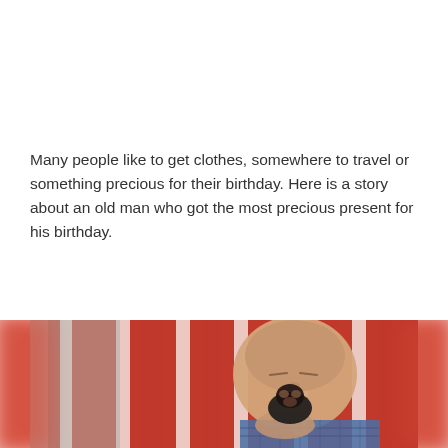Many people like to get clothes, somewhere to travel or something precious for their birthday. Here is a story about an old man who got the most precious present for his birthday.
[Figure (photo): An elderly bald man reclining in a red-and-white striped chair with eyes closed, holding a small black and tan puppy close to his face. The puppy appears to be nuzzling or licking the man's chin. The man is wearing a blue plaid shirt. The edges of the image are blurred with a red-pink color, revealing the blurred background on either side of the main photo.]